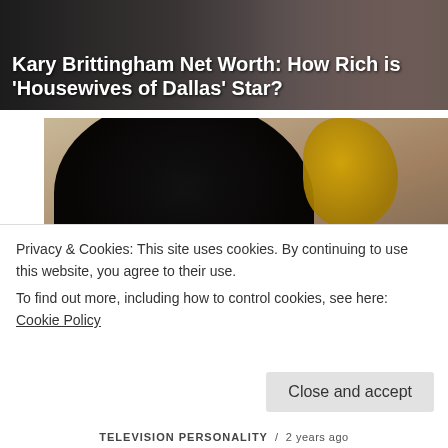Kary Brittingham Net Worth: How Rich is 'Housewives of Dallas' Star?
[Figure (photo): Photo card of a rapper woman with black curly hair and blonde highlights, dramatic makeup, red lips, holding large hoop earrings. Category label 'RAPPERS / 2 years ago' overlaid at bottom left.]
Londynn B Net Worth & Wiki: How Rich is the Rapper Actually?
Privacy & Cookies: This site uses cookies. By continuing to use this website, you agree to their use.
To find out more, including how to control cookies, see here: Cookie Policy
Close and accept
TELEVISION PERSONALITY  /  2 years ago